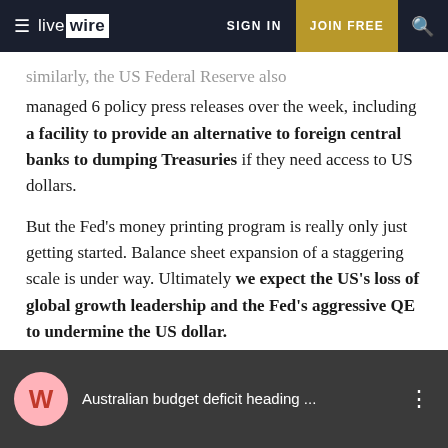live wire | SIGN IN | JOIN FREE
...similarly, the US Federal Reserve also managed 6 policy press releases over the week, including a facility to provide an alternative to foreign central banks to dumping Treasuries if they need access to US dollars.

But the Fed's money printing program is really only just getting started. Balance sheet expansion of a staggering scale is under way. Ultimately we expect the US's loss of global growth leadership and the Fed's aggressive QE to undermine the US dollar.
[Figure (screenshot): Video thumbnail showing Westpac logo and title 'Australian budget deficit heading ...' with a person in the background]